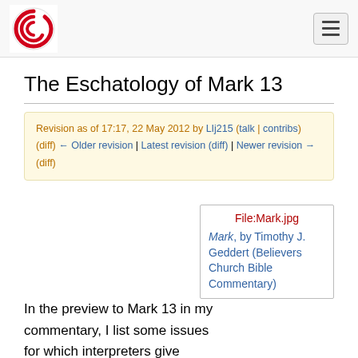[Logo] The Eschatology of Mark 13 wiki page header with menu button
The Eschatology of Mark 13
Revision as of 17:17, 22 May 2012 by LIj215 (talk | contribs)
(diff) ← Older revision | Latest revision (diff) | Newer revision → (diff)
[Figure (other): File:Mark.jpg — Mark, by Timothy J. Geddert (Believers Church Bible Commentary)]
In the preview to Mark 13 in my commentary, I list some issues for which interpreters give divergent answers. I suggest that the interpreter's goal should not be to eliminate the ambiguities of Mark 13, but to understand why they are there. If the controlling assumption of Mark 13 is that one cannot know the timing of the End, then